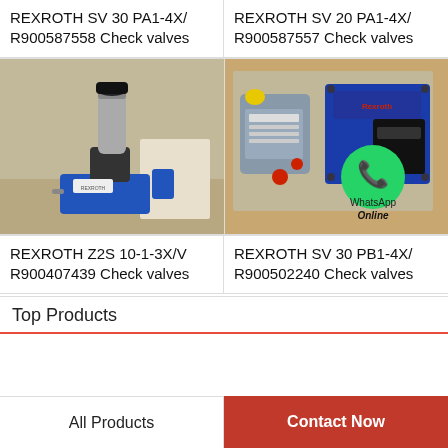REXROTH SV 30 PA1-4X/ R900587558 Check valves
REXROTH SV 20 PA1-4X/ R900587557 Check valves
[Figure (photo): Photo of a Rexroth check valve (Z2S 10-1-3X/V), blue body with cylindrical metallic fitting, placed on a table]
[Figure (photo): Photo of Rexroth SV 30 PB1-4X check valves, blue hydraulic valve units, with WhatsApp Online overlay]
REXROTH Z2S 10-1-3X/V R900407439 Check valves
REXROTH SV 30 PB1-4X/ R900502240 Check valves
Top Products
All Products
Contact Now